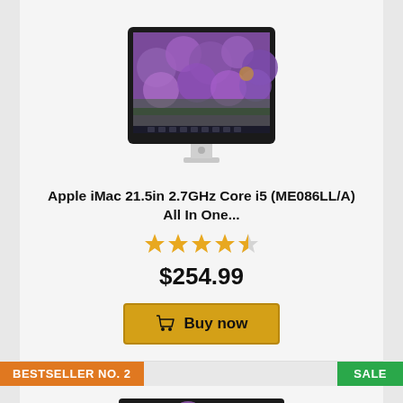[Figure (photo): Apple iMac desktop computer with purple flower wallpaper on screen]
Apple iMac 21.5in 2.7GHz Core i5 (ME086LL/A) All In One...
[Figure (other): 4.5 out of 5 stars rating]
$254.99
Buy now
BESTSELLER NO. 2
SALE
[Figure (photo): Second Apple iMac product image partially visible]